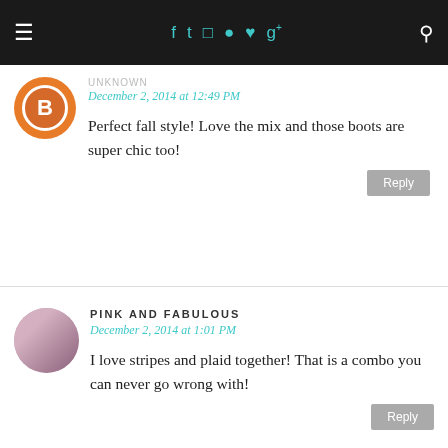Navigation bar with menu, social icons (facebook, twitter, instagram, pinterest, heart, google+), and search
December 2, 2014 at 12:49 PM
Perfect fall style! Love the mix and those boots are super chic too!
PINK AND FABULOUS
December 2, 2014 at 1:01 PM
I love stripes and plaid together! That is a combo you can never go wrong with!